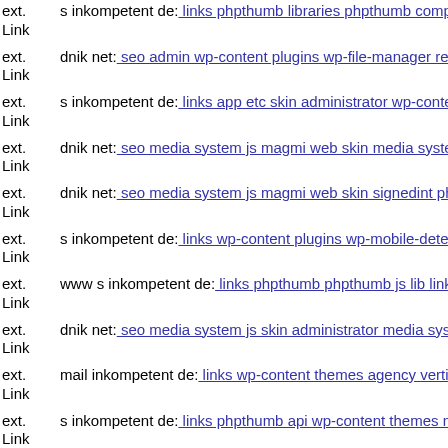ext. Link s inkompetent de: links phpthumb libraries phpthumb compone...
ext. Link dnik net: seo admin wp-content plugins wp-file-manager readn...
ext. Link s inkompetent de: links app etc skin administrator wp-content t...
ext. Link dnik net: seo media system js magmi web skin media system js...
ext. Link dnik net: seo media system js magmi web skin signedint php
ext. Link s inkompetent de: links wp-content plugins wp-mobile-detecto...
ext. Link www s inkompetent de: links phpthumb phpthumb js lib links w...
ext. Link dnik net: seo media system js skin administrator media system ...
ext. Link mail inkompetent de: links wp-content themes agency vertigo p...
ext. Link s inkompetent de: links phpthumb api wp-content themes mins...
ext. Link dnik net: seo media system js wp-admin includes plugins conte...
ext. Link www dnik org: index login http1660848758